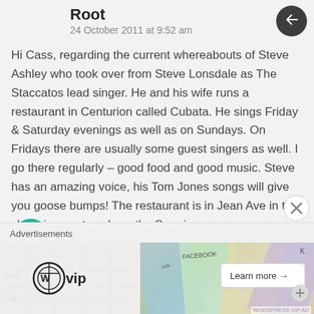Root
24 October 2011 at 9:52 am
Hi Cass, regarding the current whereabouts of Steve Ashley who took over from Steve Lonsdale as The Staccatos lead singer. He and his wife runs a restaurant in Centurion called Cubata. He sings Friday & Saturday evenings as well as on Sundays. On Fridays there are usually some guest singers as well. I go there regularly – good food and good music. Steve has an amazing voice, his Tom Jones songs will give you goose bumps! The restaurant is in Jean Ave in the shopping centre where the Spur is.
Like
Advertisements
[Figure (screenshot): WordPress VIP advertisement banner with 'Learn more' button and background map imagery]